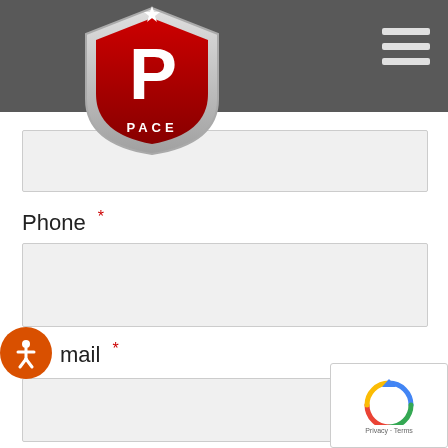[Figure (logo): PACE shield logo with P letter, red and silver colors]
Last Name *
[Figure (screenshot): Last name text input field (empty, light gray background)]
Phone *
[Figure (screenshot): Phone text input field (empty, light gray background)]
Email *
[Figure (screenshot): Email text input field (empty, light gray background)]
Message *
[Figure (screenshot): Message textarea field (empty, light gray background)]
[Figure (screenshot): reCAPTCHA widget with spinning arrows logo and Privacy · Terms text]